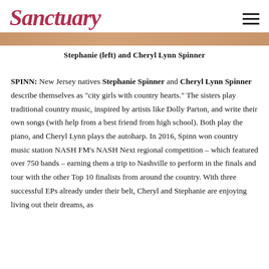Sanctuary
[Figure (photo): Partial cropped photo of Stephanie (left) and Cheryl Lynn Spinner]
Stephanie (left) and Cheryl Lynn Spinner
SPINN: New Jersey natives Stephanie Spinner and Cheryl Lynn Spinner describe themselves as "city girls with country hearts." The sisters play traditional country music, inspired by artists like Dolly Parton, and write their own songs (with help from a best friend from high school). Both play the piano, and Cheryl Lynn plays the autoharp. In 2016, Spinn won country music station NASH FM's NASH Next regional competition – which featured over 750 bands – earning them a trip to Nashville to perform in the finals and tour with the other Top 10 finalists from around the country. With three successful EPs already under their belt, Cheryl and Stephanie are enjoying living out their dreams, as